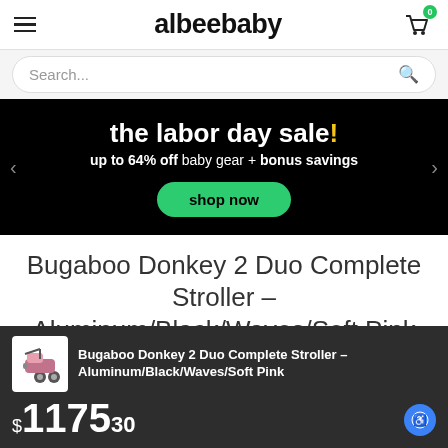albeebaby
[Figure (screenshot): Search bar with placeholder text 'Search...']
[Figure (infographic): Labor Day Sale banner: 'the labor day sale! up to 64% off baby gear + bonus savings' with green 'shop now' button]
Bugaboo Donkey 2 Duo Complete Stroller - Aluminum/Black/Waves/Soft Pink
[Figure (photo): Sticky bottom bar with product thumbnail of Bugaboo Donkey 2 stroller and price $1175.30]